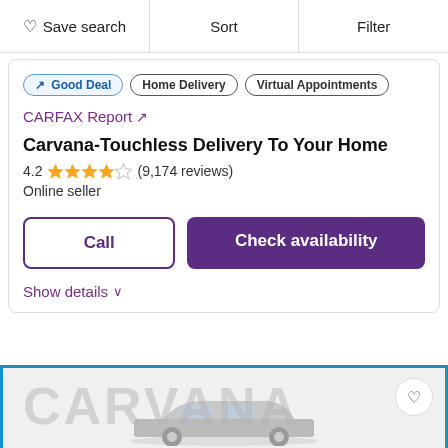Save search | Sort | Filter
Good Deal
Home Delivery
Virtual Appointments
CARFAX Report ↗
Carvana-Touchless Delivery To Your Home
4.2 ★★★★☆ (9,174 reviews)
Online seller
Call | Check availability
Show details ∨
[Figure (photo): Carvana car listing image with CARVANA watermark text and a car silhouette, with a heart/save button]